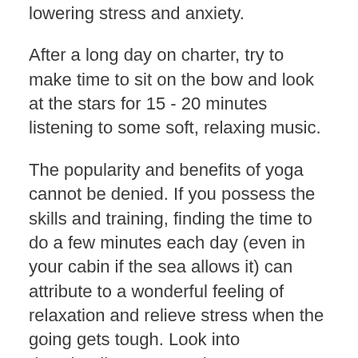lowering stress and anxiety.
After a long day on charter, try to make time to sit on the bow and look at the stars for 15 - 20 minutes listening to some soft, relaxing music.
The popularity and benefits of yoga cannot be denied. If you possess the skills and training, finding the time to do a few minutes each day (even in your cabin if the sea allows it) can attribute to a wonderful feeling of relaxation and relieve stress when the going gets tough. Look into downloading apps such as Yoga Studio or try the free Yoga with Adriene videos on YouTube.
Something I've started using regularly is Chia seeds soaked in coconut milk – I take about a ¾ cup of Chia